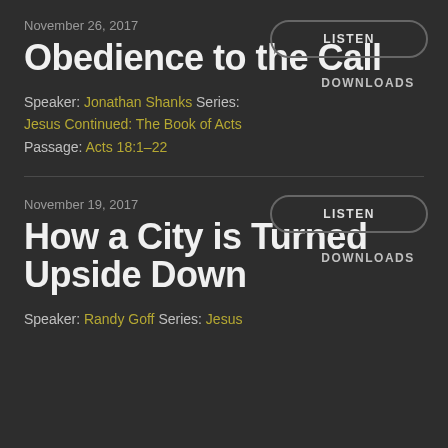November 26, 2017
Obedience to the Call
Speaker: Jonathan Shanks Series: Jesus Continued: The Book of Acts Passage: Acts 18:1–22
LISTEN
DOWNLOADS
November 19, 2017
How a City is Turned Upside Down
Speaker: Randy Goff Series: Jesus
LISTEN
DOWNLOADS